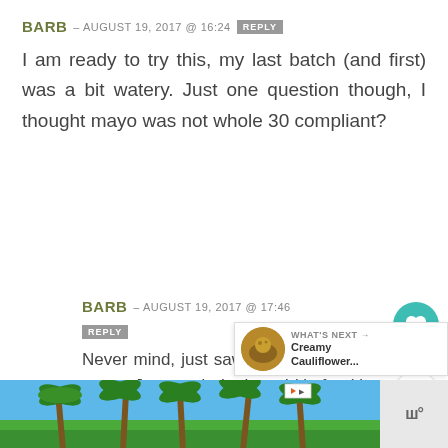BARB – AUGUST 19, 2017 @ 16:24 REPLY
I am ready to try this, my last batch (and first) was a bit watery. Just one question though, I thought mayo was not whole 30 compliant?
BARB – AUGUST 19, 2017 @ 17:46 REPLY
Never mind, just saw the recipe for the mayo. Just made both and it's freaking amazing. Even the hubs li... Thanks ????????
[Figure (screenshot): Ad bar with palm trees image at bottom of page]
[Figure (infographic): What's Next widget showing Creamy Cauliflower... with food image thumbnail]